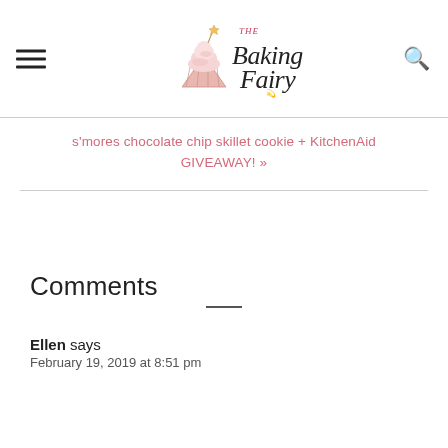The Baking Fairy
s'mores chocolate chip skillet cookie + KitchenAid GIVEAWAY! »
Comments
Ellen says
February 19, 2019 at 8:51 pm